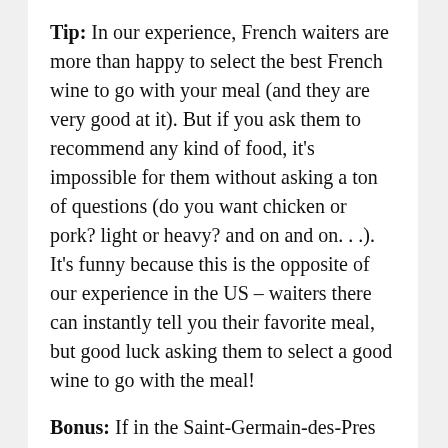Tip: In our experience, French waiters are more than happy to select the best French wine to go with your meal (and they are very good at it). But if you ask them to recommend any kind of food, it's impossible for them without asking a ton of questions (do you want chicken or pork? light or heavy? and on and on. . .). It's funny because this is the opposite of our experience in the US – waiters there can instantly tell you their favorite meal, but good luck asking them to select a good wine to go with the meal!
Bonus: If in the Saint-Germain-des-Pres area, definitely make a stop by Les Jardin du Luxembourg. It is a great place to enjoy a sunny day, people watch, and (if on a